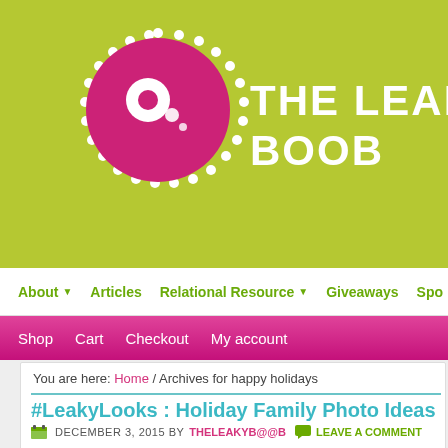[Figure (logo): The Leaky Boob logo with pink circle and white dots on lime green background with site name text]
About | Articles | Relational Resource | Giveaways | Spo...
Shop | Cart | Checkout | My account
You are here: Home / Archives for happy holidays
#LeakyLooks : Holiday Family Photo Ideas
DECEMBER 3, 2015 BY THELEAKYB@@B   LEAVE A COMMENT
by Shannon Streger
This week's Leaky Looks was put together by an experienced photographer, Shannon Streg... photo ideas with a traditional look, a more modern feel, and a weekend at the campfire, sh... the box.